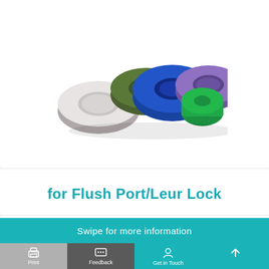[Figure (photo): Five colorful medical port caps/Luer lock caps arranged in a group: white, olive green, blue, purple/lavender, and bright green colors.]
for Flush Port/Leur Lock
Swipe for more information
Print   Feedback   Get in Touch   ↑